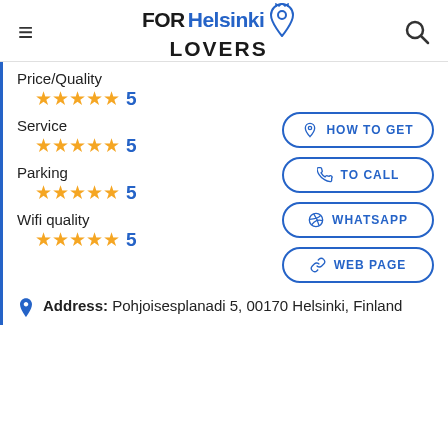FOR Helsinki LOVERS
Price/Quality
★★★★★ 5
Service
★★★★★ 5
Parking
★★★★★ 5
Wifi quality
★★★★★ 5
HOW TO GET
TO CALL
WHATSAPP
WEB PAGE
Address: Pohjoisesplanadi 5, 00170 Helsinki, Finland